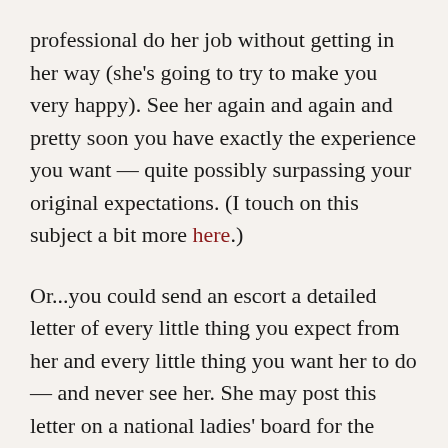professional do her job without getting in her way (she's going to try to make you very happy). See her again and again and pretty soon you have exactly the experience you want — quite possibly surpassing your original expectations. (I touch on this subject a bit more here.)
Or...you could send an escort a detailed letter of every little thing you expect from her and every little thing you want her to do — and never see her. She may post this letter on a national ladies' board for the laughs (or you could live in infamy online as a time-waster), which could mean you don't see any escort in her city. Or you send copies of this letter